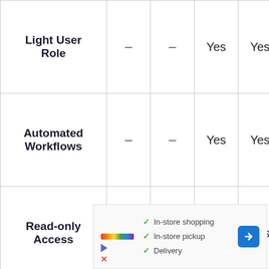| Feature | Col1 | Col2 | Col3 | Col4 |
| --- | --- | --- | --- | --- |
| Light User Role | – | – | Yes | Yes |
| Automated Workflows | – | – | Yes | Yes |
| Read-only Access | – | – | Yes | Yes |
| Visual Reports | – | – | – | Yes |
[Figure (other): Advertisement banner showing In-store shopping, In-store pickup, and Delivery checkmarks with a colorful logo, navigation arrow icon, and play/close buttons.]